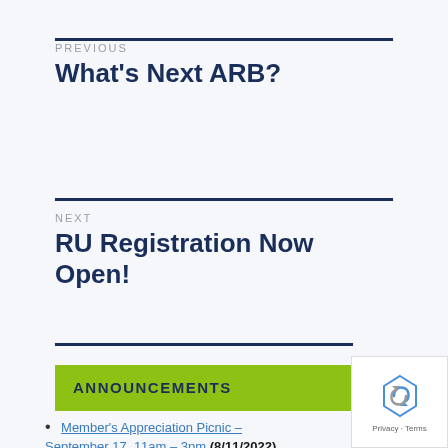PREVIOUS
What's Next ARB?
NEXT
RU Registration Now Open!
ANNOUNCEMENTS
Member's Appreciation Picnic – September 17, 11am – 3pm (8/11/2022)